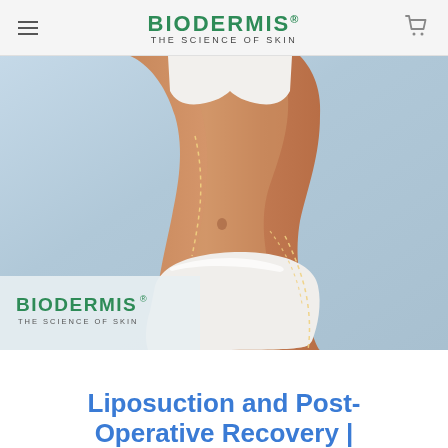BIODERMIS® THE SCIENCE OF SKIN
[Figure (photo): Medical/cosmetic photo showing a woman's torso in white underwear with dashed lines indicating liposuction treatment areas on abdomen and thighs, with Biodermis logo watermark overlay at bottom left]
Liposuction and Post-Operative Recovery |